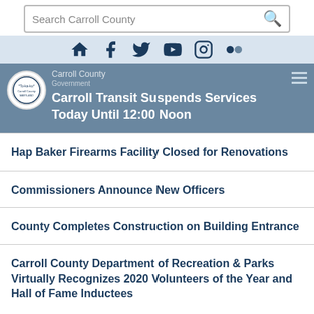Search Carroll County
[Figure (screenshot): Social media icon bar with home, Facebook, Twitter, YouTube, Instagram, and Flickr icons on a light blue background]
Carroll Transit Suspends Services Today Until 12:00 Noon
Hap Baker Firearms Facility Closed for Renovations
Commissioners Announce New Officers
County Completes Construction on Building Entrance
Carroll County Department of Recreation & Parks Virtually Recognizes 2020 Volunteers of the Year and Hall of Fame Inductees